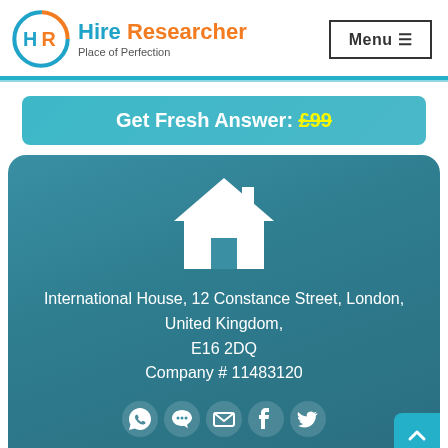[Figure (logo): Hire Researcher logo with HR circular icon, blue and orange colors, tagline 'Place of Perfection']
Menu ≡
Get Fresh Answer: £99
[Figure (infographic): Contact card with house icon, address text: International House, 12 Constance Street, London, United Kingdom, E16 2DQ, Company # 11483120, and social media icons (WhatsApp, chat, email, Facebook, Twitter)]